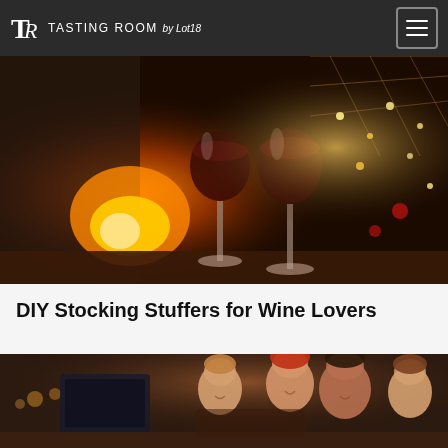TASTING ROOM by Lot18
[Figure (photo): Two glasses of red wine on a table in front of a glowing fireplace, with Christmas lights and holiday decorations in the background]
DIY Stocking Stuffers for Wine Lovers
[Figure (photo): A happy family with a young child gathered around a table, laughing and eating together in a warmly lit kitchen setting]